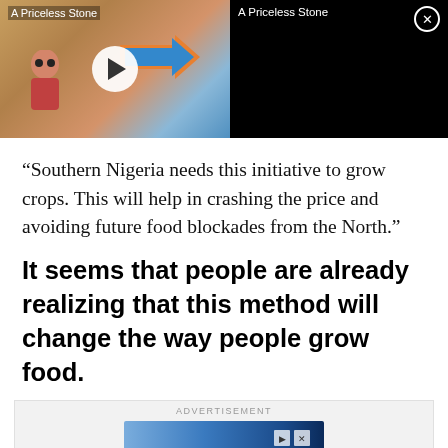[Figure (screenshot): Video player thumbnail showing animated character with arrow, labeled 'A Priceless Stone', with play button overlay. Right side is black with title 'A Priceless Stone' and close button.]
“Southern Nigeria needs this initiative to grow crops. This will help in crashing the price and avoiding future food blockades from the North.”
It seems that people are already realizing that this method will change the way people grow food.
ADVERTISEMENT
[Figure (screenshot): Advertisement banner with car image and navigation icons]
ADVERTISEMENT